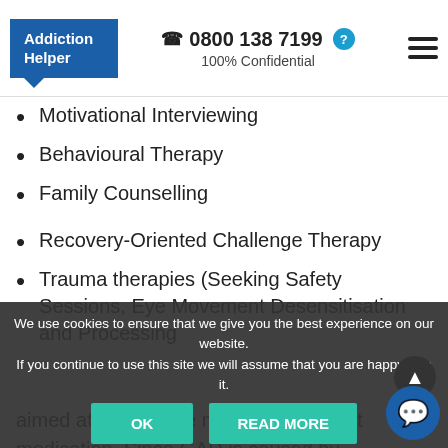Addiction Helper | 0800 138 7199 | 100% Confidential
Motivational Interviewing
Behavioural Therapy
Family Counselling
Recovery-Oriented Challenge Therapy
Trauma therapies (Seeking Safety Sessions, Eye Movement Desensitisation and Processing
We use cookies to ensure that we give you the best experience on our website. If you continue to use this site we will assume that you are happy with it.
aimed at helping the mind relax without medication. Since GAD is caused by overexcited nerve cells, these alternative therapies have p... to be effective. They include meditation and mindfulness, yoga practice, acupuncture, Reiki and